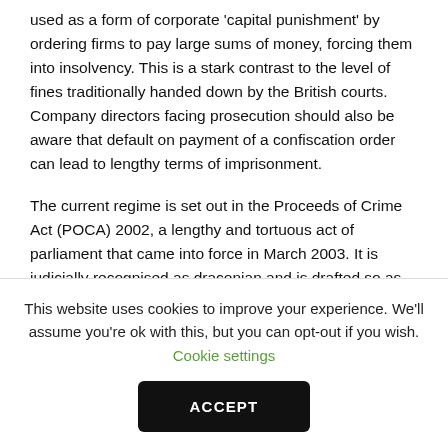used as a form of corporate 'capital punishment' by ordering firms to pay large sums of money, forcing them into insolvency. This is a stark contrast to the level of fines traditionally handed down by the British courts. Company directors facing prosecution should also be aware that default on payment of a confiscation order can lead to lengthy terms of imprisonment.
The current regime is set out in the Proceeds of Crime Act (POCA) 2002, a lengthy and tortuous act of parliament that came into force in March 2003. It is judicially recognised as draconian and is drafted so as to severely limit any judicial discretion that might mitigate its effects.
This website uses cookies to improve your experience. We'll assume you're ok with this, but you can opt-out if you wish. Cookie settings ACCEPT